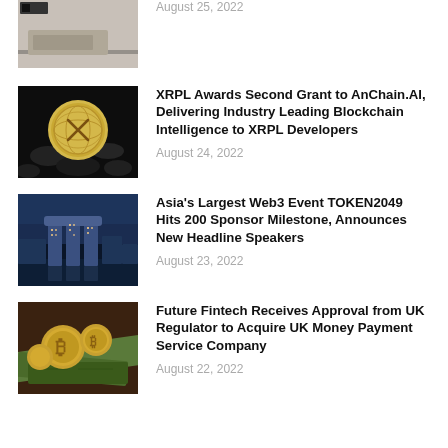[Figure (photo): Partial thumbnail of a news article, partially cropped at top]
August 25, 2022
XRPL Awards Second Grant to AnChain.AI, Delivering Industry Leading Blockchain Intelligence to XRPL Developers
[Figure (photo): Gold XRP coin on dark gravel background]
August 24, 2022
Asia's Largest Web3 Event TOKEN2049 Hits 200 Sponsor Milestone, Announces New Headline Speakers
[Figure (photo): Marina Bay Sands Singapore at dusk, city skyline]
August 23, 2022
Future Fintech Receives Approval from UK Regulator to Acquire UK Money Payment Service Company
[Figure (photo): Bitcoin gold coins on top of paper currency bills]
August 22, 2022